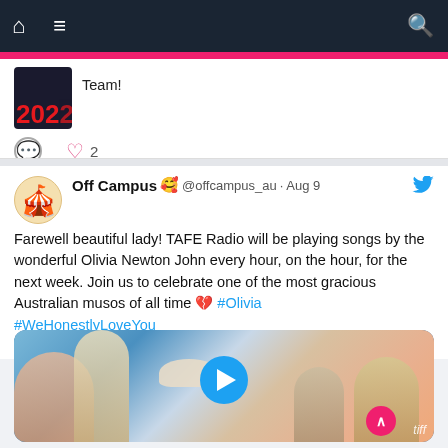Navigation bar with home, menu, and search icons
Team!
♡ 2
Off Campus 🥰 @offcampus_au · Aug 9
Farewell beautiful lady! TAFE Radio will be playing songs by the wonderful Olivia Newton John every hour, on the hour, for the next week. Join us to celebrate one of the most gracious Australian musos of all time 💔 #Olivia #WeHonestlyLoveYou
👉 offcampus.media/listen-to-tafe...
[Figure (screenshot): Video thumbnail showing people at what appears to be an outdoor scene with a play button overlay, tiff watermark in bottom right]